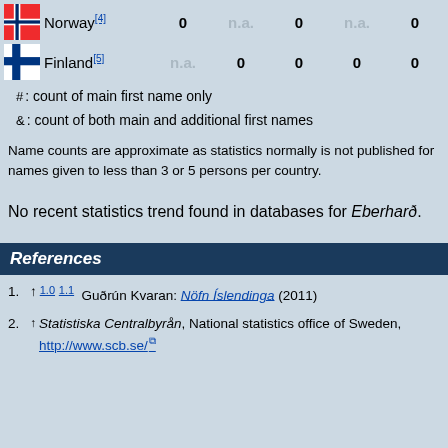| Country | col1 | col2 | col3 | col4 | col5 |
| --- | --- | --- | --- | --- | --- |
| Norway[4] | 0 | n.a. | 0 | n.a. | 0 | n.a. |
| Finland[5] | n.a. | 0 | 0 | 0 | 0 | 0 |
#: count of main first name only
&: count of both main and additional first names
Name counts are approximate as statistics normally is not published for names given to less than 3 or 5 persons per country.
No recent statistics trend found in databases for Eberharð.
References
1. ↑ 1.0 1.1 Guðrún Kvaran: Nöfn Íslendinga (2011)
2. ↑ Statistiska Centralbyrån, National statistics office of Sweden, http://www.scb.se/